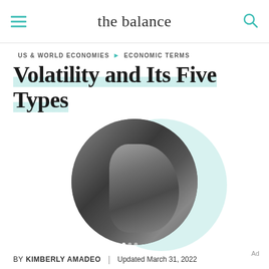the balance
US & WORLD ECONOMIES ► ECONOMIC TERMS
Volatility and Its Five Types
[Figure (photo): A black and white close-up photo of a man with a pencil in his mouth, looking upward, shown in a circular crop on a teal/mint background circle. Three dots indicator at bottom of image.]
BY KIMBERLY AMADEO | Updated March 31, 2022
Ad